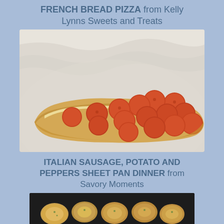FRENCH BREAD PIZZA from Kelly Lynns Sweets and Treats
[Figure (photo): A French bread pizza topped with many pepperoni slices and melted cheese, on a marble surface]
ITALIAN SAUSAGE, POTATO AND PEPPERS SHEET PAN DINNER from Savory Moments
[Figure (photo): A cast iron skillet with roasted potatoes and Italian sausage]